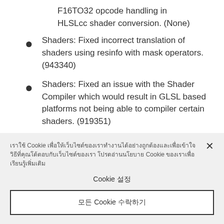F16TO32 opcode handling in HLSLcc shader conversion. (None)
Shaders: Fixed incorrect translation of shaders using resinfo with mask operators. (943340)
Shaders: Fixed an issue with the Shader Compiler which would result in GLSL based platforms not being able to compiler certain shaders. (919351)
Cookie notice text in Thai script with 'Cookie' mentions
Cookie 설정
모든 Cookie 수락하기